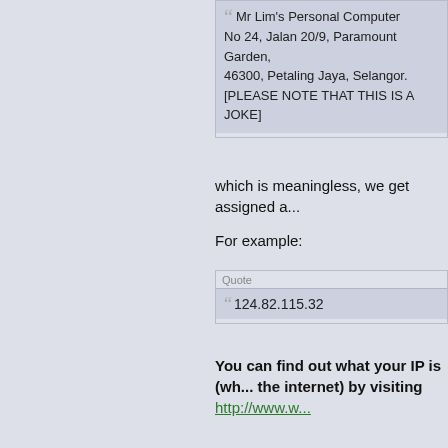Mr Lim's Personal Computer
No 24, Jalan 20/9, Paramount Garden,
46300, Petaling Jaya, Selangor.
[PLEASE NOTE THAT THIS IS A JOKE]
which is meaningless, we get assigned a...
For example:
Quote
124.82.115.32
You can find out what your IP is (wh... the internet) by visiting http://www.w...
An IP range (as how we define it), is a ran... most important digits to look for in an IP a...
Quote
124.82.115.32